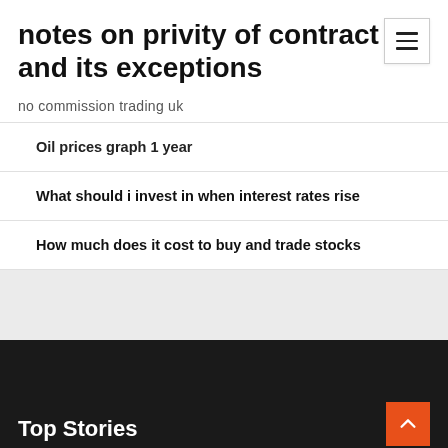notes on privity of contract and its exceptions
no commission trading uk
Oil prices graph 1 year
What should i invest in when interest rates rise
How much does it cost to buy and trade stocks
Top Stories